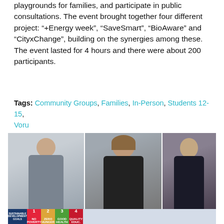playgrounds for families, and participate in public consultations. The event brought together four different project: “+Energy week”, “SaveSmart”, “BioAware” and “CityxChange”, building on the synergies among these. The event lasted for 4 hours and there were about 200 participants.
Tags: Community Groups, Families, In-Person, Students 12-15, Voru
The Limerick We Want to Live In
Posted on August 31, 2021 by Johnathan Subendran - DBEP Learning and Education Portfolio
[Figure (photo): Video conference screenshot showing three panelists: a man in a grey shirt on the left, a woman with brown hair in a black top in the center, and a man in a dark jacket on the right. Below the video is a strip showing SDG (Sustainable Development Goals) icons and a partial map.]